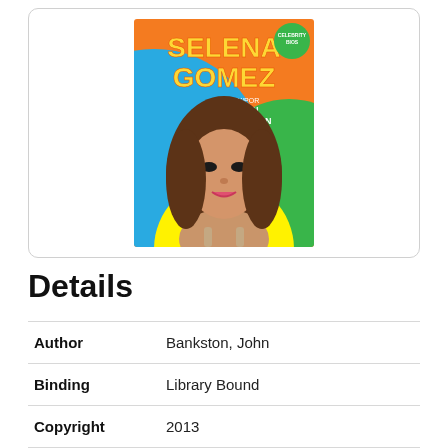[Figure (photo): Book cover of 'Selena Gomez' by John Bankston, showing Selena Gomez's photo on a colorful orange, blue, green, and yellow background with her name in large yellow text.]
Details
| Author | Bankston, John |
| Binding | Library Bound |
| Copyright | 2013 |
| Dewey | 791.4302 |